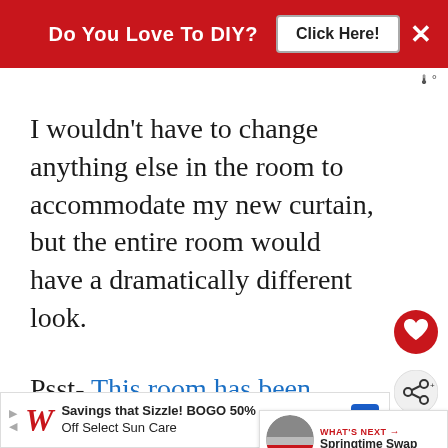[Figure (screenshot): Red advertisement banner with text 'Do You Love To DIY?' and a 'Click Here!' button, plus an X close button on the right.]
I wouldn't have to change anything else in the room to accommodate my new curtain, but the entire room would have a dramatically different look.
Psst- This room has been completely renovated. Have you seen the dra… after?
[Figure (screenshot): Walgreens ad banner: 'Savings that Sizzle! BOGO 50% Off Select Sun Care']